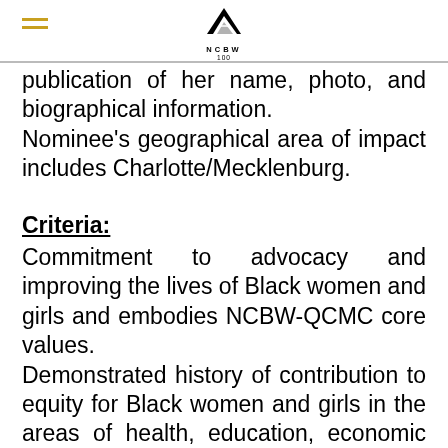NCBW 100 logo with hamburger menu
publication of her name, photo, and biographical information. Nominee's geographical area of impact includes Charlotte/Mecklenburg.
Criteria:
Commitment to advocacy and improving the lives of Black women and girls and embodies NCBW-QCMC core values. Demonstrated history of contribution to equity for Black women and girls in the areas of health, education, economic empowerment and public